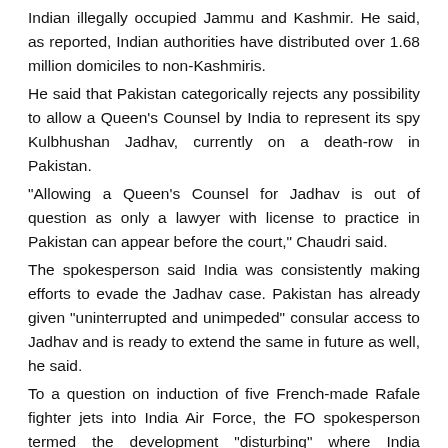Indian illegally occupied Jammu and Kashmir. He said, as reported, Indian authorities have distributed over 1.68 million domiciles to non-Kashmiris.
He said that Pakistan categorically rejects any possibility to allow a Queen's Counsel by India to represent its spy Kulbhushan Jadhav, currently on a death-row in Pakistan.
“Allowing a Queen's Counsel for Jadhav is out of question as only a lawyer with license to practice in Pakistan can appear before the court,” Chaudri said.
The spokesperson said India was consistently making efforts to evade the Jadhav case. Pakistan has already given “uninterrupted and unimpeded” consular access to Jadhav and is ready to extend the same in future as well, he said.
To a question on induction of five French-made Rafale fighter jets into India Air Force, the FO spokesperson termed the development “disturbing” where India continued to amass military capabilities beyond its genuine security requirement.
He stressed that Rafale jets were dual capable systems that